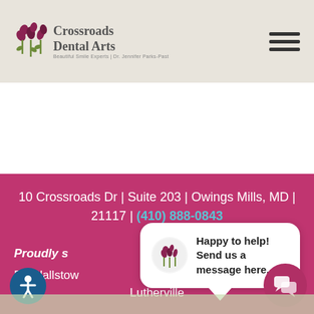[Figure (logo): Crossroads Dental Arts logo with stylized flower/dental icons and text 'Crossroads Dental Arts, Beautiful Smile Experts | Dr. Jennifer Parks-Past']
[Figure (other): Hamburger menu icon (three horizontal lines) in top right corner]
10 Crossroads Dr | Suite 203 | Owings Mills, MD | 21117 | (410) 888-0843
Proudly s[erving]
Randallstow[n]
Lutherville
[Figure (other): Chat popup bubble with dental logo avatar and text 'Happy to help! Send us a message here.']
[Figure (other): Accessibility icon: blue circle with white person/wheelchair symbol]
[Figure (other): Chat icon: dark pink circle with chat bubble icons]